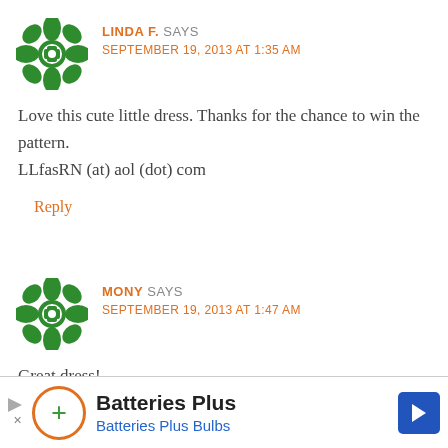[Figure (illustration): Green decorative avatar icon for user Linda F.]
LINDA F. SAYS
SEPTEMBER 19, 2013 AT 1:35 AM
Love this cute little dress. Thanks for the chance to win the pattern.
LLfasRN (at) aol (dot) com
Reply
[Figure (illustration): Green decorative avatar icon for user Mony.]
MONY SAYS
SEPTEMBER 19, 2013 AT 1:47 AM
Great dress!
Reply
[Figure (screenshot): Batteries Plus advertisement banner at the bottom of the page]